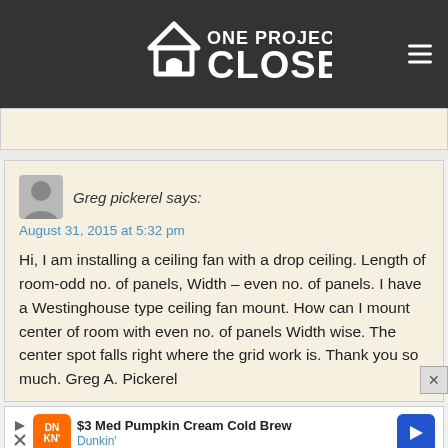ONE PROJECT CLOSER
Greg pickerel says:
August 31, 2015 at 5:32 pm

Hi, I am installing a ceiling fan with a drop ceiling. Length of room-odd no. of panels, Width – even no. of panels. I have a Westinghouse type ceiling fan mount. How can I mount center of room with even no. of panels Width wise. The center spot falls right where the grid work is. Thank you so much. Greg A. Pickerel
[Figure (other): Advertisement banner for Dunkin' showing $3 Med Pumpkin Cream Cold Brew offer with Dunkin' logo and navigation arrow icon]